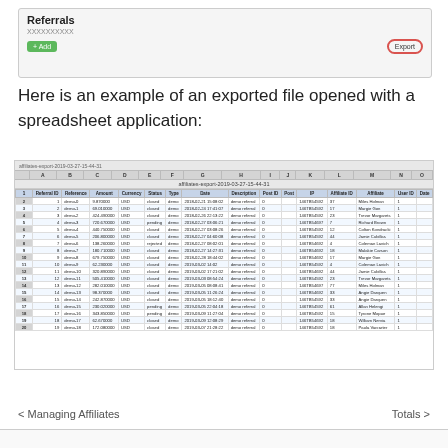[Figure (screenshot): UI panel titled 'Referrals' with an Add button and a circled Export button]
Here is an example of an exported file opened with a spreadsheet application:
[Figure (screenshot): Spreadsheet view of affiliates-export-2019-03-27-15-44-31 showing referral data with columns: Referral ID, Reference, Amount, Currency, Status, Type, Date, Description, Post ID, Post, IP, Affiliate ID, Affiliate, User ID, Date]
< Managing Affiliates
Totals >